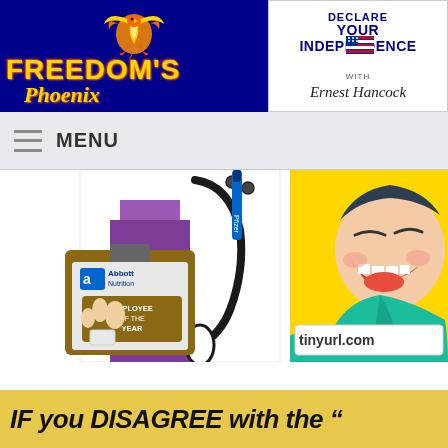[Figure (logo): Freedom's Phoenix logo — phoenix bird with flames on dark blue background with gold/yellow text reading FREEDOM'S Phoenix]
[Figure (logo): Declare Your Independence with Ernest Hancock logo — blue text with flag graphic and cursive signature]
MENU
[Figure (illustration): Comic-style illustration showing a doctor holding an Abbott Nutrition Employee of the Year clipboard with a Pfizer pen, wearing a stethoscope, next to a laughing man. Text 'tinyurl.com' visible in bottom right.]
IF you DISAGREE with the "